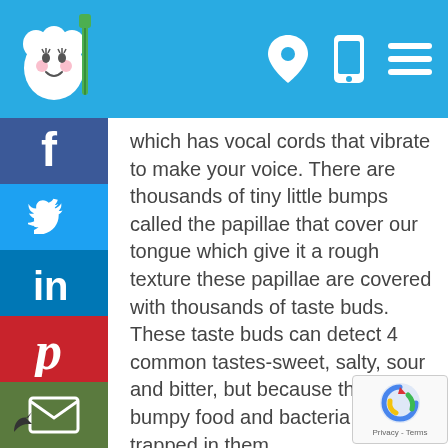Dental health website header with tooth logo and navigation icons
which has vocal cords that vibrate to make your voice. There are thousands of tiny little bumps called the papillae that cover our tongue which give it a rough texture these papillae are covered with thousands of taste buds. These taste buds can detect 4 common tastes-sweet, salty, sour and bitter, but because they are bumpy food and bacteria can get trapped in them.
If we neglect our tongue we would struggle to eat, breath,speak and swallow. Just like our teeth and gums, the tongue can also become unhealthy.
Over half of the bacteria in the mouth are present on the tongue. This can also contribute to other health issues, if not cared for. The bacteria on the tongue release volatile sulfur compounds which can contribute to halitosis ( bad breath). How do we keep our